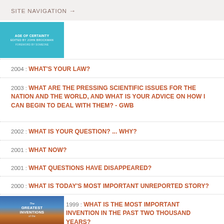SITE NAVIGATION →
[Figure (illustration): Book cover for 'Age of Certainty' edited by John Brockman with a teal/cyan background]
2004 : WHAT'S YOUR LAW?
2003 : WHAT ARE THE PRESSING SCIENTIFIC ISSUES FOR THE NATION AND THE WORLD, AND WHAT IS YOUR ADVICE ON HOW I CAN BEGIN TO DEAL WITH THEM? - GWB
2002 : WHAT IS YOUR QUESTION? ... WHY?
2001 : WHAT NOW?
2001 : WHAT QUESTIONS HAVE DISAPPEARED?
2000 : WHAT IS TODAY'S MOST IMPORTANT UNREPORTED STORY?
[Figure (illustration): Book cover for 'The Greatest Inventions of the ...' with blue and earth-tone imagery]
1999 : WHAT IS THE MOST IMPORTANT INVENTION IN THE PAST TWO THOUSAND YEARS?